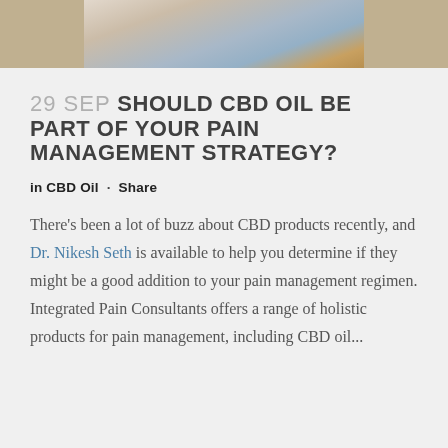[Figure (photo): Cropped photo of a person, showing partial torso and arm, outdoor setting with warm tones]
29 SEP SHOULD CBD OIL BE PART OF YOUR PAIN MANAGEMENT STRATEGY?
in CBD Oil · Share
There's been a lot of buzz about CBD products recently, and Dr. Nikesh Seth is available to help you determine if they might be a good addition to your pain management regimen. Integrated Pain Consultants offers a range of holistic products for pain management, including CBD oil...